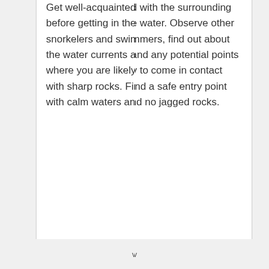Get well-acquainted with the surrounding before getting in the water. Observe other snorkelers and swimmers, find out about the water currents and any potential points where you are likely to come in contact with sharp rocks. Find a safe entry point with calm waters and no jagged rocks.
v